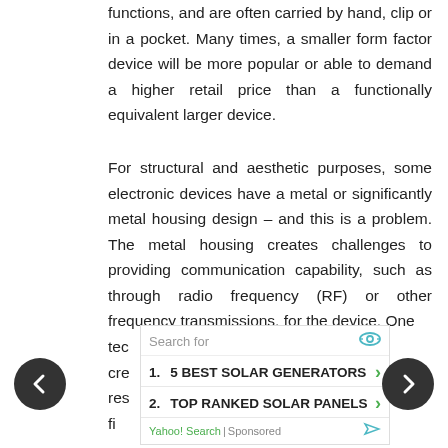functions, and are often carried by hand, clip or in a pocket. Many times, a smaller form factor device will be more popular or able to demand a higher retail price than a functionally equivalent larger device.
For structural and aesthetic purposes, some electronic devices have a metal or significantly metal housing design – and this is a problem. The metal housing creates challenges to providing communication capability, such as through radio frequency (RF) or other frequency transmissions, for the device. One tec[...] is cre[...] na[...] res[...] a [...] fi[...]
[Figure (screenshot): Advertisement overlay: Search for | eye icon. 1. 5 BEST SOLAR GENERATORS with green arrow. 2. TOP RANKED SOLAR PANELS with green arrow. Yahoo! Search | Sponsored footer.]